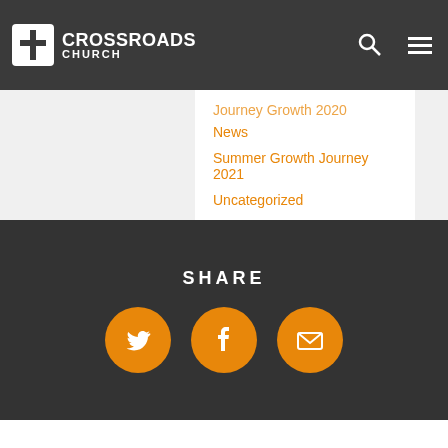Crossroads Church
Journey Growth 2020 (partial)
News
Summer Growth Journey 2021
Uncategorized
Updates
SHARE — Twitter, Facebook, Email